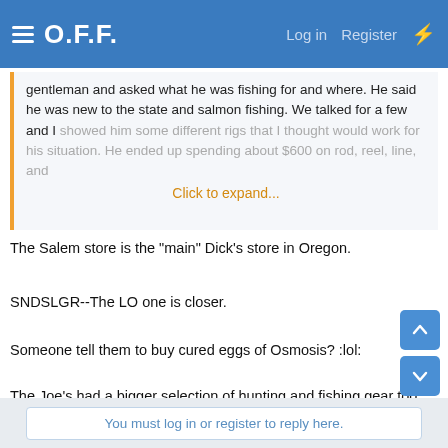O.F.F. — Log in  Register
gentleman and asked what he was fishing for and where. He said he was new to the state and salmon fishing. We talked for a few and I showed him some different rigs that I thought would work for his situation. He ended up spending about $600 on rod, reel, line, and — Click to expand...
The Salem store is the "main" Dick's store in Oregon.
SNDSLGR--The LO one is closer.
Someone tell them to buy cured eggs of Osmosis? :lol:
The Joe's had a bigger selection of hunting and fishing gear too. The hunting stuff went all along the back wall, and the fishing stuff went from where the hunting stuff started, all the way to the wall. Dicks has a block for fishing, and a block for hunting. Their worm prices are much lower though. 😉
You must log in or register to reply here.